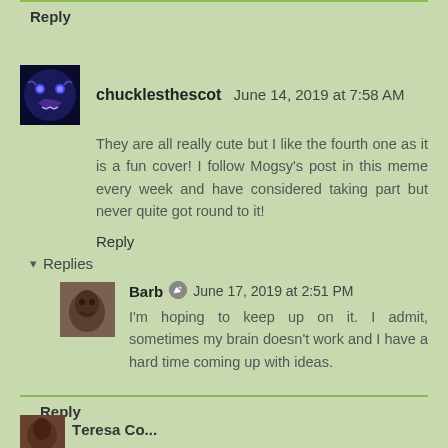Reply
chucklesthescot June 14, 2019 at 7:58 AM
They are all really cute but I like the fourth one as it is a fun cover! I follow Mogsy's post in this meme every week and have considered taking part but never quite got round to it!
Reply
Replies
Barb June 17, 2019 at 2:51 PM
I'm hoping to keep up on it. I admit, sometimes my brain doesn't work and I have a hard time coming up with ideas.
Reply